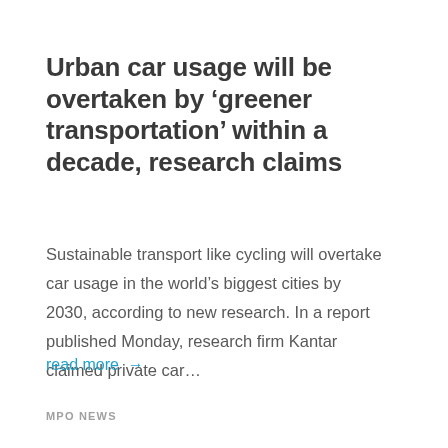Urban car usage will be overtaken by ‘greener transportation’ within a decade, research claims
Sustainable transport like cycling will overtake car usage in the world’s biggest cities by 2030, according to new research. In a report published Monday, research firm Kantar claimed private car…
read more →
MPO NEWS